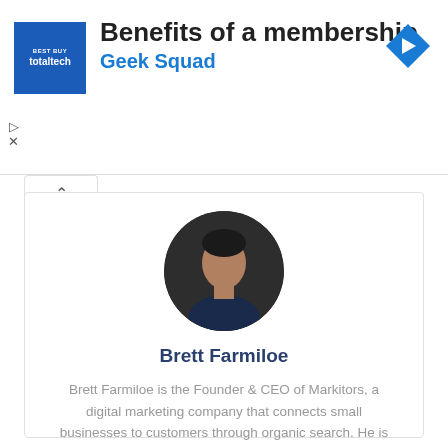[Figure (infographic): Advertisement banner: Best Buy Total Tech membership with Geek Squad logo in blue square, title 'Benefits of a membership', subtitle 'Geek Squad' in blue, blue diamond navigation arrow icon on right, play and close controls on left]
Brett Farmiloe
Brett Farmiloe is the Founder & CEO of Markitors, a digital marketing company that connects small businesses to customers through organic search. He is also the founder of Terkel, a platform that gives a voice to experts and provides people with the opportunity to share their insights, get published, and be heard. Sign up at terkel.io to answer questions and get published.